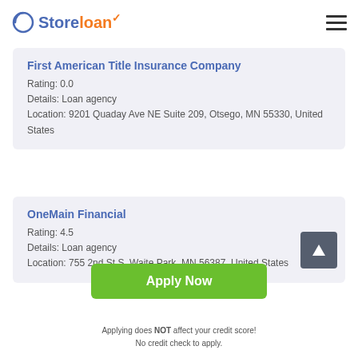Store loan
First American Title Insurance Company
Rating: 0.0
Details: Loan agency
Location: 9201 Quaday Ave NE Suite 209, Otsego, MN 55330, United States
OneMain Financial
Rating: 4.5
Details: Loan agency
Location: 755 2nd St S, Waite Park, MN 56387, United States
Apply Now
Applying does NOT affect your credit score!
No credit check to apply.